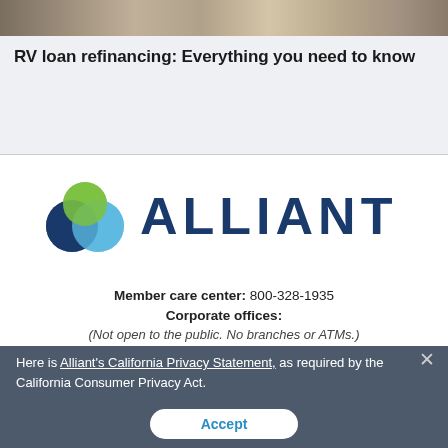[Figure (photo): A strip of a travel/map photo at the top of the page, partially cropped]
RV loan refinancing: Everything you need to know
[Figure (logo): Alliant Credit Union logo with three overlapping circles (dark blue, light blue, green) and the word ALLIANT in dark navy bold letters]
Member care center: 800-328-1935
Corporate offices:
(Not open to the public. No branches or ATMs.)
Here is Alliant's California Privacy Statement, as required by the California Consumer Privacy Act.
Accept